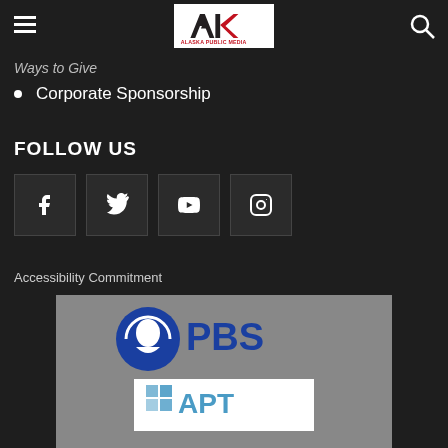Alaska Public Media
Ways to Give (partial)
Corporate Sponsorship
FOLLOW US
[Figure (other): Social media icon buttons: Facebook, Twitter, YouTube, Instagram]
Accessibility Commitment
[Figure (logo): PBS logo and APT (American Public Television) logo on gray background]